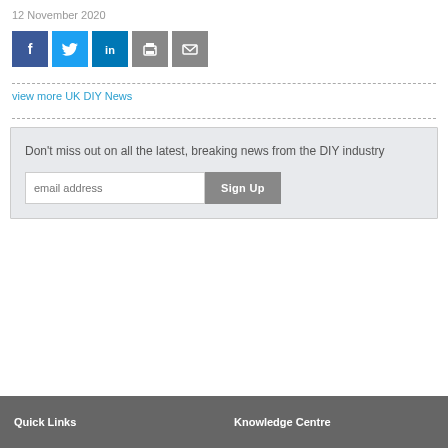12 November 2020
[Figure (other): Social share icons: Facebook, Twitter, LinkedIn, Print, Email]
view more UK DIY News
Don't miss out on all the latest, breaking news from the DIY industry
Quick Links   Knowledge Centre